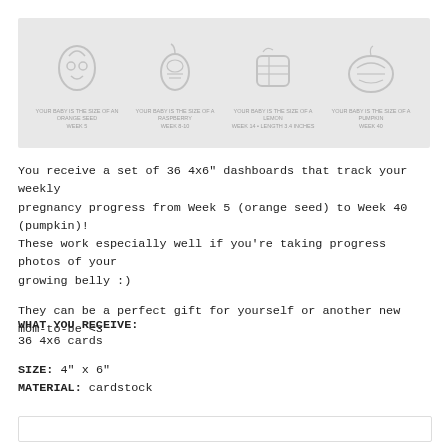[Figure (illustration): A horizontal banner image with a light gray background showing four illustrated pregnancy milestone dashboard cards with faint outline icons of fruits/vegetables (e.g., seeds, vegetables) representing different weeks of pregnancy. Text labels are barely visible beneath each icon.]
You receive a set of 36 4x6" dashboards that track your weekly pregnancy progress from Week 5 (orange seed) to Week 40 (pumpkin)! These work especially well if you're taking progress photos of your growing belly :)
They can be a perfect gift for yourself or another new mom-to-be <3
WHAT YOU RECEIVE:
36 4x6 cards
SIZE: 4" x 6"
MATERIAL: cardstock